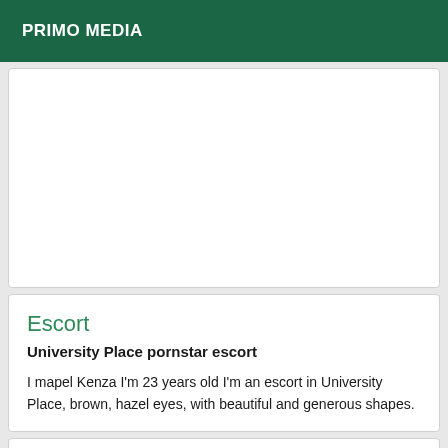PRIMO MEDIA
Escort
University Place pornstar escort
I mapel Kenza I'm 23 years old I'm an escort in University Place, brown, hazel eyes, with beautiful and generous shapes.